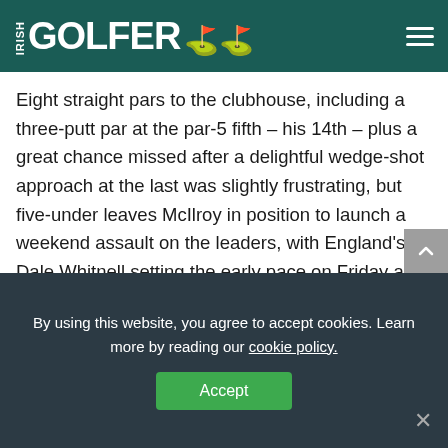IRISH GOLFER
Eight straight pars to the clubhouse, including a three-putt par at the par-5 fifth – his 14th – plus a great chance missed after a delightful wedge-shot approach at the last was slightly frustrating, but five-under leaves McIlroy in position to launch a weekend assault on the leaders, with England's Dale Whitnell setting the early pace on Friday at 10-under par.
“It could have been a little better than what it was, playing the two par 5s at even par on the front nine,” McIlroy added. “Missed a couple of chances, too. But it was
By using this website, you agree to accept cookies. Learn more by reading our cookie policy.